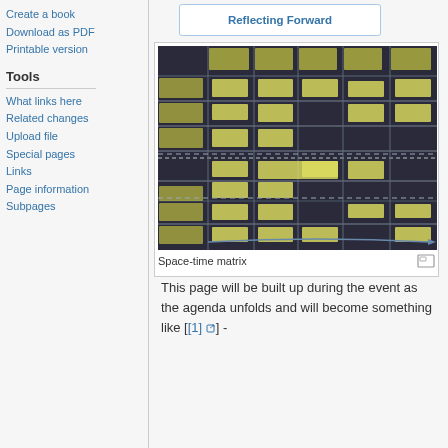Create a book
Download as PDF
Printable version
Tools
What links here
Related changes
Upload file
Special pages
Links
Page information
Subpages
[Figure (photo): Photograph of a space-time matrix board covered with yellow sticky notes arranged in a grid, showing days and activities.]
Space-time matrix
This page will be built up during the event as the agenda unfolds and will become something like [[1] ] -